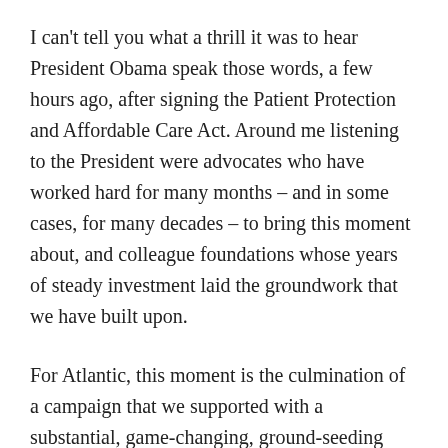I can't tell you what a thrill it was to hear President Obama speak those words, a few hours ago, after signing the Patient Protection and Affordable Care Act. Around me listening to the President were advocates who have worked hard for many months – and in some cases, for many decades – to bring this moment about, and colleague foundations whose years of steady investment laid the groundwork that we have built upon.
For Atlantic, this moment is the culmination of a campaign that we supported with a substantial, game-changing, ground-seeding investment to Health Care for America Now! (HCAN), the broad coalition working for comprehensive reform, in early 2008,